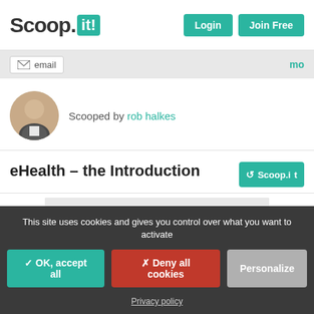Scoop.it! | Login | Join Free
email | mo
Scooped by rob halkes
eHealth – the Introduction
[Figure (screenshot): Book or presentation cover image showing 'WHAT IS EHEALTH? Easy Access to the word of Digital Health' with grey gradient background]
This site uses cookies and gives you control over what you want to activate
✓ OK, accept all | ✗ Deny all cookies | Personalize
Privacy policy